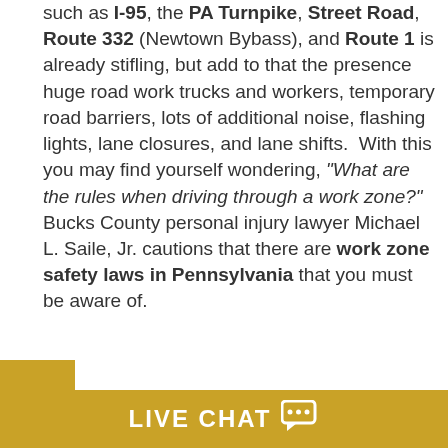such as I-95, the PA Turnpike, Street Road, Route 332 (Newtown Bybass), and Route 1 is already stifling, but add to that the presence huge road work trucks and workers, temporary road barriers, lots of additional noise, flashing lights, lane closures, and lane shifts.  With this you may find yourself wondering, "What are the rules when driving through a work zone?"  Bucks County personal injury lawyer Michael L. Saile, Jr. cautions that there are work zone safety laws in Pennsylvania that you must be aware of.
Here are work zone safety laws that are strictly enforced in Pennsylvania:
LIVE CHAT